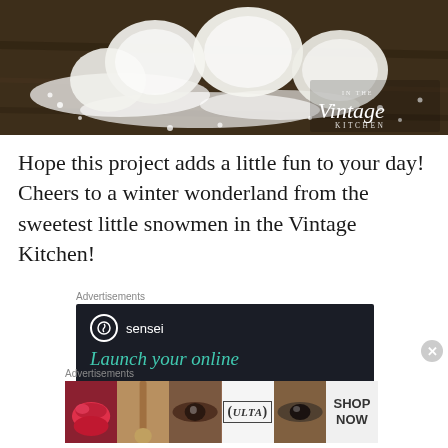[Figure (photo): Photo of powdered sugar-coated snowball cookies on a dark wooden surface, with the 'In The Vintage Kitchen' logo overlaid in the bottom right corner]
Hope this project adds a little fun to your day! Cheers to a winter wonderland from the sweetest little snowmen in the Vintage Kitchen!
Advertisements
[Figure (other): Sensei advertisement on dark background showing sensei logo and text 'Launch your online']
Advertisements
[Figure (other): Ulta beauty advertisement banner showing cosmetics imagery with SHOP NOW call to action]